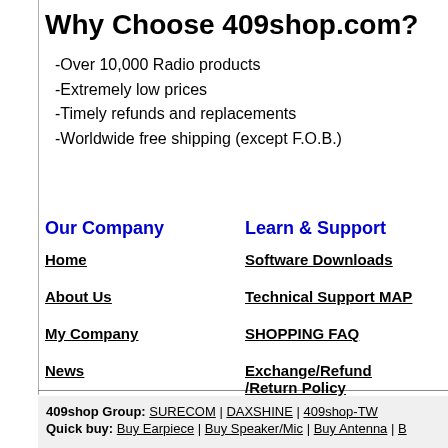Why Choose 409shop.com?
-Over 10,000 Radio products
-Extremely low prices
-Timely refunds and replacements
-Worldwide free shipping (except F.O.B.)
Our Company
Learn & Support
Home
Software Downloads
About Us
Technical Support MAP
My Company
SHOPPING FAQ
News
Exchange/Refund /Return Policy
Authority of All Sit Map
Tax Policy
409shop Group: SURECOM | DAXSHINE | 409shop-TW
Quick buy: Buy Earpiece | Buy Speaker/Mic | Buy Antenna | B